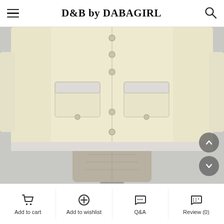D&B by DABAGIRL
[Figure (photo): Close-up product photo of a cream/ivory colored button-front jacket with two chest pockets and decorative buttons, displayed on a dress form/mannequin against a light grey background.]
Add to cart
Add to wishlist
Q&A
Review (0)